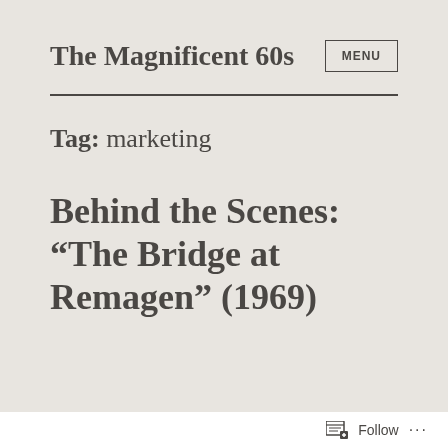The Magnificent 60s
Tag: marketing
Behind the Scenes: “The Bridge at Remagen” (1969)
Follow